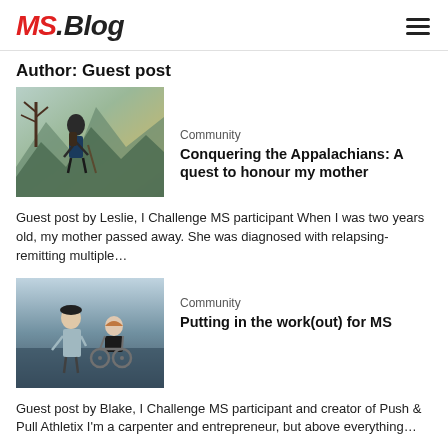MS.Blog
Author: Guest post
[Figure (photo): Person with hiking gear standing on a mountain overlook with bare trees, mountains visible in background]
Community
Conquering the Appalachians: A quest to honour my mother
Guest post by Leslie, I Challenge MS participant When I was two years old, my mother passed away. She was diagnosed with relapsing-remitting multiple…
[Figure (photo): Two people posing together, one in a wheelchair, near a waterfront]
Community
Putting in the work(out) for MS
Guest post by Blake, I Challenge MS participant and creator of Push & Pull Athletix I'm a carpenter and entrepreneur, but above everything…